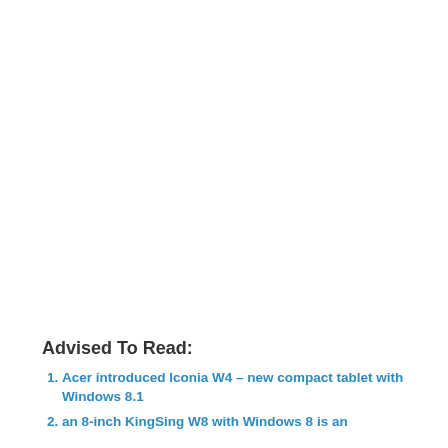Advised To Read:
Acer introduced Iconia W4 – new compact tablet with Windows 8.1
an 8-inch KingSing W8 with Windows 8 is an